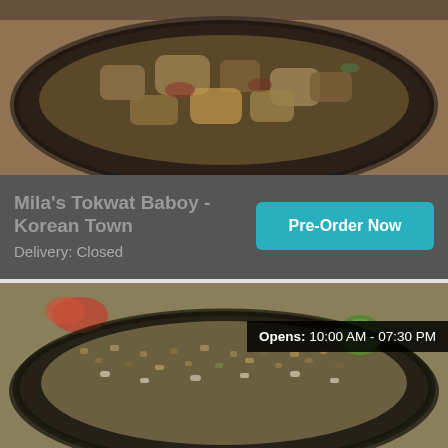[Figure (photo): Food photo of Tokwat Baboy dish in a dark pan/sizzling plate, close-up shot]
Mila's Tokwat Baboy - Korean Town
Delivery: Closed
Pre-Order Now
[Figure (photo): Food photo of Sisig dish in a dark sizzling plate with lime garnish, close-up shot]
Opens: 10:00 AM - 07:30 PM
Aling Lucing Sisig (DAU)
Delivery: Closed
Pre-Order Now
[Figure (photo): Partial food photo at bottom of page, green vegetables visible]